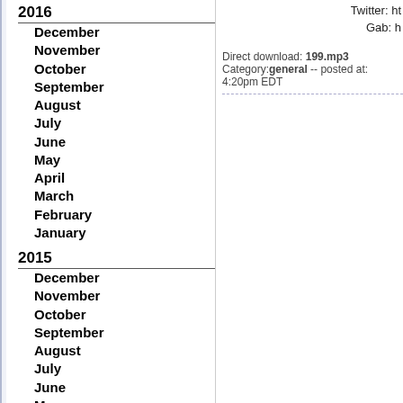2016
December
November
October
September
August
July
June
May
April
March
February
January
2015
December
November
October
September
August
July
June
May
April
March
February
January
2014
December
November
Twitter: ht
Gab: h
Direct download: 199.mp3
Category:general -- posted at: 4:20pm EDT